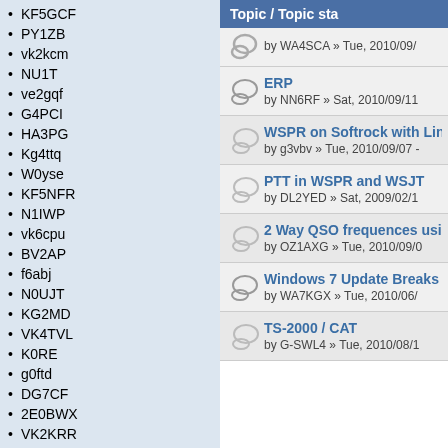KF5GCF
PY1ZB
vk2kcm
NU1T
ve2gqf
G4PCI
HA3PG
Kg4ttq
W0yse
KF5NFR
N1IWP
vk6cpu
BV2AP
f6abj
N0UJT
KG2MD
VK4TVL
K0RE
g0ftd
DG7CF
2E0BWX
VK2KRR
N5XXN
M0NVQ
G0IDE
AC0G
Topic / Topic sta
by WA4SCA » Tue, 2010/09/
ERP
by NN6RF » Sat, 2010/09/11
WSPR on Softrock with Linu
by g3vbv » Tue, 2010/09/07
PTT in WSPR and WSJT
by DL2YED » Sat, 2009/02/1
2 Way QSO frequences using
by OZ1AXG » Tue, 2010/09/0
Windows 7 Update Breaks W
by WA7KGX » Tue, 2010/06/
TS-2000 / CAT
by G-SWL4 » Tue, 2010/08/1